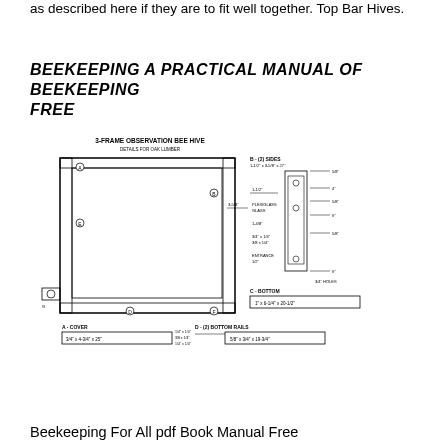as described here if they are to fit well together. Top Bar Hives.
BEEKEEPING A PRACTICAL MANUAL OF BEEKEEPING FREE
[Figure (engineering-diagram): 3-Frame Observation Bee Hive technical drawing showing details for oak lumber, including labeled parts: A-Cover, B-(2) Sides, C-Bottom, D-(2) Bottom Rails, E-Entrance, E-Top Bar, G-Feeder, with dimensions and cross-section details.]
Beekeeping For All pdf Book Manual Free